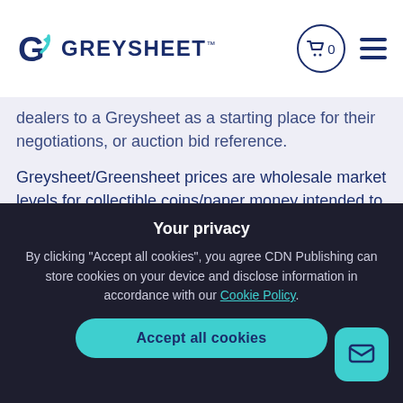GREYSHEET
dealers to a Greysheet as a starting place for their negotiations, or auction bid reference.
Greysheet/Greensheet prices are wholesale market levels for collectible coins/paper money intended to indicate what a dealer, or wholesale, buyer would pay for the described item in the specified grade. Greysheet/Greensheet represent "sight-seen" values based on a buyer's in-hand review. The actual value can be more or less than this depending on factors including eye appeal and other attributes.
Your privacy
By clicking "Accept all cookies", you agree CDN Publishing can store cookies on your device and disclose information in accordance with our Cookie Policy.
Accept all cookies